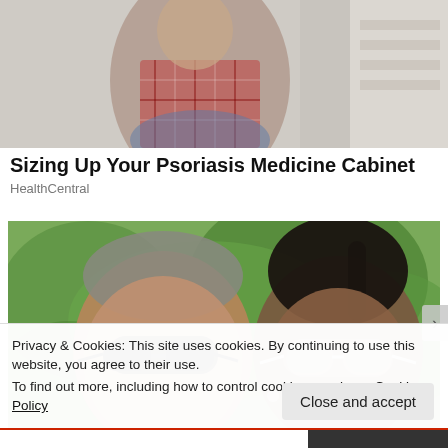[Figure (photo): Top portion of an article image showing a person in a plaid shirt, partially cropped, with light background and pharmacy shelving visible]
Sizing Up Your Psoriasis Medicine Cabinet
HealthCentral
[Figure (photo): Two people wearing sunglasses posing outdoors with green foliage in background; a man on the left with dark sunglasses and a woman on the right with white-frame sunglasses]
Privacy & Cookies: This site uses cookies. By continuing to use this website, you agree to their use.
To find out more, including how to control cookies, see here: Cookie Policy
Close and accept